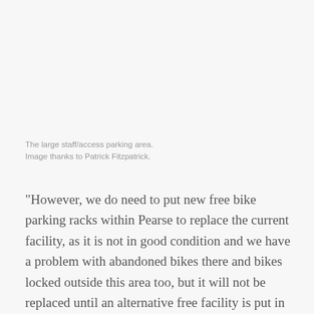The large staff/access parking area.
Image thanks to Patrick Fitzpatrick.
“However, we do need to put new free bike parking racks within Pearse to replace the current facility, as it is not in good condition and we have a problem with abandoned bikes there and bikes locked outside this area too, but it will not be replaced until an alternative free facility is put in place and ready for use,” Kenny added.